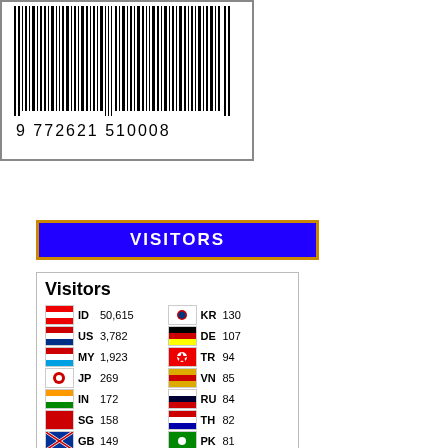[Figure (other): Barcode with number 9 772621 510008]
[Figure (other): VISITORS banner with blue background and orange border]
| Flag | CC | Count | Flag | CC | Count |
| --- | --- | --- | --- | --- | --- |
| ID | 50,615 | KR | 130 |
| US | 3,782 | DE | 107 |
| MY | 1,923 | TR | 94 |
| JP | 269 | VN | 85 |
| IN | 172 | RU | 84 |
| SG | 158 | TH | 82 |
| GB | 149 | PK | 81 |
| PH | 148 | HK | 71 |
| CN | 141 | IE | 70 |
| CA | 135 | AU | 64 |